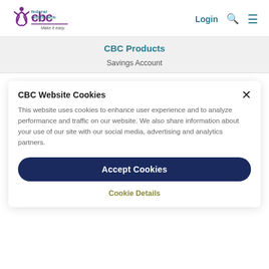[Figure (logo): CBC Federal Credit Union logo with tagline 'Make it easy.']
Login  🔍  ≡
CBC Products
Savings Account
CBC Website Cookies
This website uses cookies to enhance user experience and to analyze performance and traffic on our website. We also share information about your use of our site with our social media, advertising and analytics partners.
Accept Cookies
Cookie Details